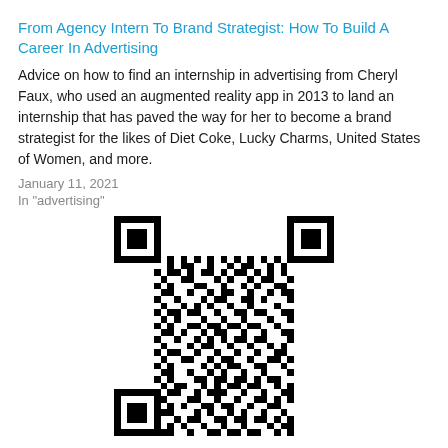From Agency Intern To Brand Strategist: How To Build A Career In Advertising
Advice on how to find an internship in advertising from Cheryl Faux, who used an augmented reality app in 2013 to land an internship that has paved the way for her to become a brand strategist for the likes of Diet Coke, Lucky Charms, United States of Women, and more.
January 11, 2021
In "advertising"
[Figure (other): QR code image]